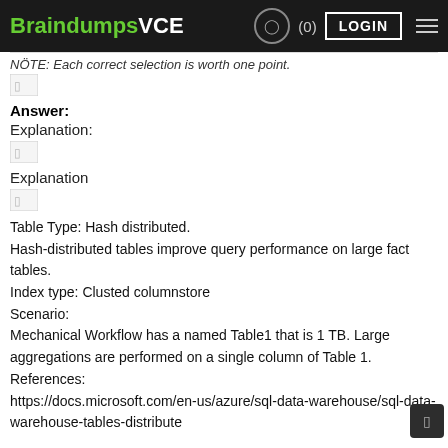BraindumpsVCE (0) LOGIN
NOTE: Each correct selection is worth one point.
[Figure (illustration): Broken image placeholder]
Answer:
Explanation:
[Figure (illustration): Broken image placeholder]
Explanation
[Figure (illustration): Broken image placeholder]
Table Type: Hash distributed.
Hash-distributed tables improve query performance on large fact tables.
Index type: Clusted columnstore
Scenario:
Mechanical Workflow has a named Table1 that is 1 TB. Large aggregations are performed on a single column of Table 1.
References:
https://docs.microsoft.com/en-us/azure/sql-data-warehouse/sql-data-warehouse-tables-distribute